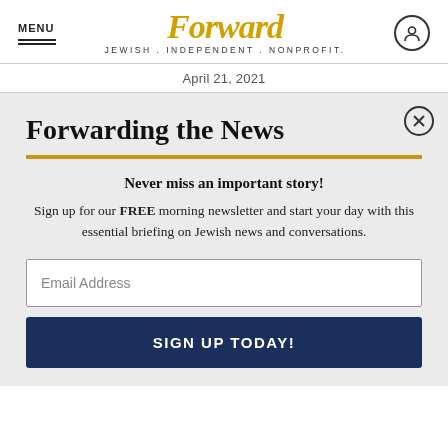MENU | Forward JEWISH . INDEPENDENT . NONPROFIT.
April 21, 2021
Forwarding the News
Never miss an important story!
Sign up for our FREE morning newsletter and start your day with this essential briefing on Jewish news and conversations.
Email Address
SIGN UP TODAY!